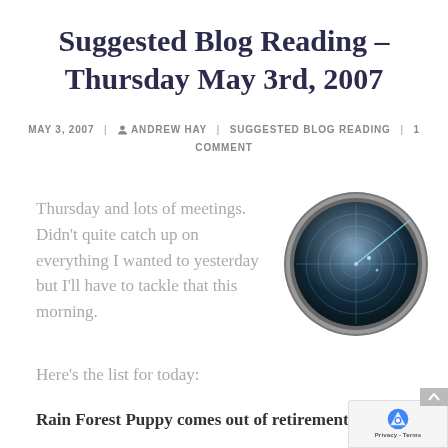Suggested Blog Reading – Thursday May 3rd, 2007
MAY 3, 2007  |  ANDREW HAY  |  SUGGESTED BLOG READING  |  1 COMMENT
Thursday and lots of meetings. Didn't quite catch up on everything I wanted to yesterday but I'll have to tackle that this morning.
[Figure (photo): Radar screen icon — circular radar display with concentric rings and crosshairs on dark glassy surface]
Here's the list for today:
Rain Forest Puppy comes out of retirement – He's ali…